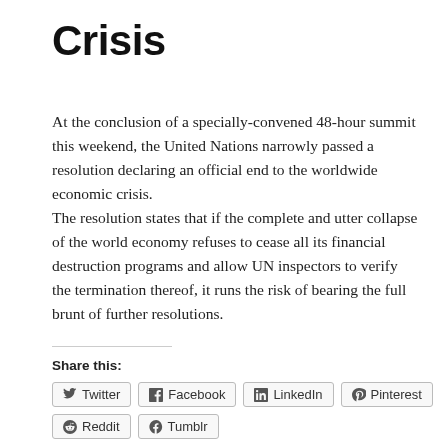Crisis
At the conclusion of a specially-convened 48-hour summit this weekend, the United Nations narrowly passed a resolution declaring an official end to the worldwide economic crisis. The resolution states that if the complete and utter collapse of the world economy refuses to cease all its financial destruction programs and allow UN inspectors to verify the termination thereof, it runs the risk of bearing the full brunt of further resolutions.
Share this:
Twitter  Facebook  LinkedIn  Pinterest  Reddit  Tumblr